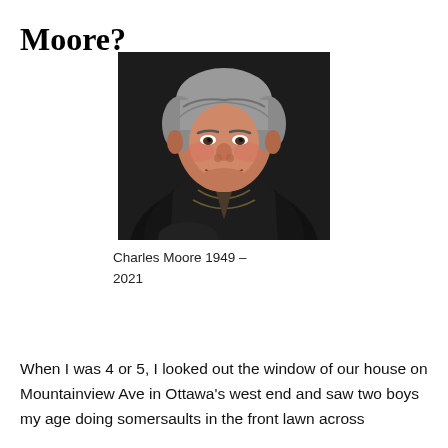Moore?
[Figure (photo): Portrait photo of Charles Moore, a middle-aged man with grey hair and a smile, wearing a black leather jacket, photographed against a dark background.]
Charles Moore 1949 – 2021
When I was 4 or 5, I looked out the window of our house on Mountainview Ave in Ottawa's west end and saw two boys my age doing somersaults in the front lawn across